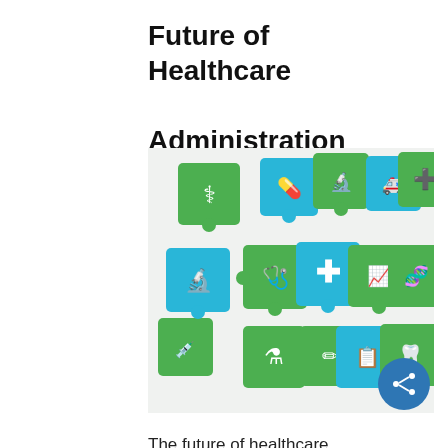Future of Healthcare Administration
[Figure (illustration): Colorful puzzle pieces in green and blue with healthcare icons including stethoscope, pill, cross, DNA, clipboard, tooth, microscope, ambulance, first aid kit, and other medical symbols scattered and partially assembled.]
The future of healthcare administration will likely deal much more heavily with technology connecting patients and medical teams, and administrators should